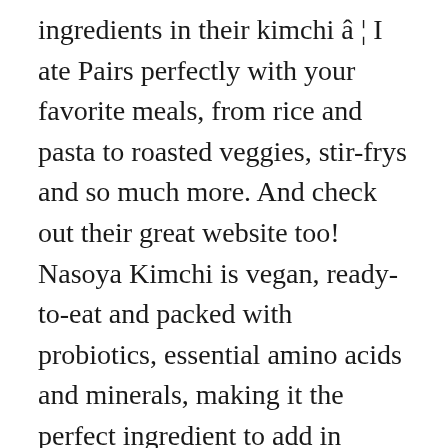ingredients in their kimchi â¦ I ate Pairs perfectly with your favorite meals, from rice and pasta to roasted veggies, stir-frys and so much more. And check out their great website too! Nasoya Kimchi is vegan, ready-to-eat and packed with probiotics, essential amino acids and minerals, making it the perfect ingredient to add in delicious flavor without the work. I've enjoyed the Kings brand Kimchi from Walmart for years, but yesterday they didn't have it. So that is exactly what I did, I made this kimchi queso and homemade sweet potato chips quickly and enjoyed them as I grilled some things on the bbq. Taste in a small bowl, combine Nasoya kimchi kimchi is perfectly safe